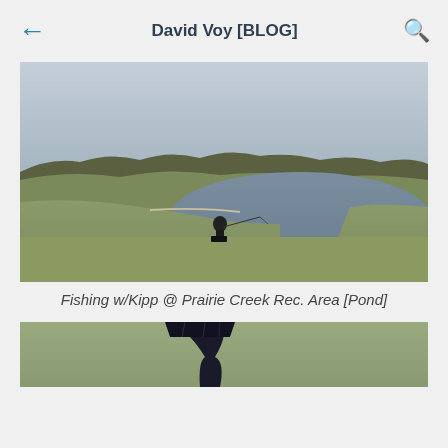David Voy [BLOG]
[Figure (photo): A person fishing at a pond at Prairie Creek Rec. Area. Overcast sky, bare trees visible in background, grassy slopes surrounding the water.]
Fishing w/Kipp @ Prairie Creek Rec. Area [Pond]
[Figure (photo): Partial view of a black folding chair on grass, bottom portion of image.]